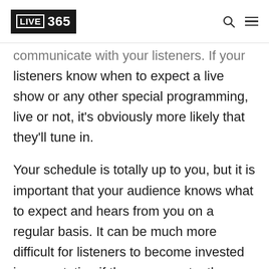LIVE 365
communicate with your listeners. If your listeners know when to expect a live show or any other special programming, live or not, it's obviously more likely that they'll tune in.
Your schedule is totally up to you, but it is important that your audience knows what to expect and hears from you on a regular basis. It can be much more difficult for listeners to become invested in your station if they are constantly wondering when there will be certain programming. Regular contact ensures that you